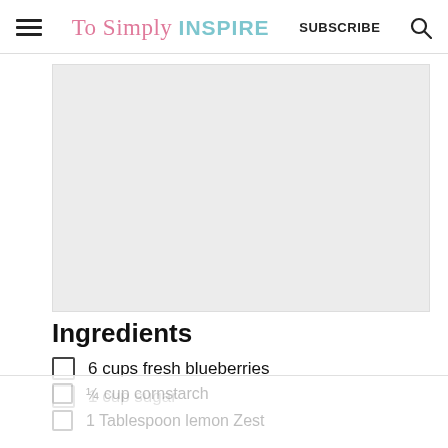To Simply INSPIRE   SUBSCRIBE
[Figure (photo): Gray image placeholder area for a recipe photo]
Ingredients
6 cups fresh blueberries
1 cup sugar
¼ cup cornstarch
1 Tablespoon lemon Zest